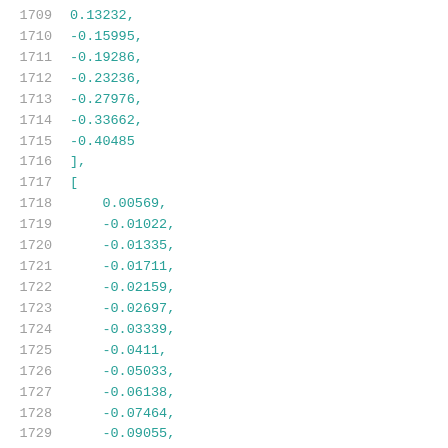Code listing lines 1709-1730 showing numeric array values: 0.13232, -0.15995, -0.19286, -0.23236, -0.27976, -0.33662, -0.40485, ], [, 0.00569, -0.01022, -0.01335, -0.01711, -0.02159, -0.02697, -0.03339, -0.0411, -0.05033, -0.06138, -0.07464, -0.09055, -0.10961,